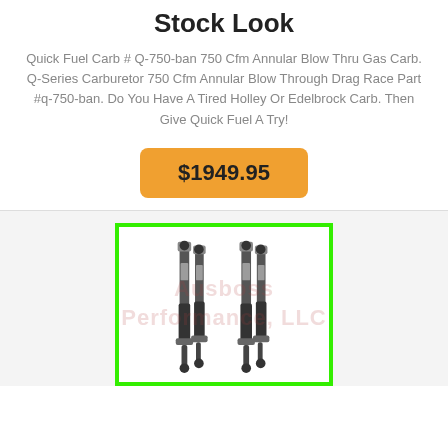Stock Look
Quick Fuel Carb # Q-750-ban 750 Cfm Annular Blow Thru Gas Carb. Q-Series Carburetor 750 Cfm Annular Blow Through Drag Race Part #q-750-ban. Do You Have A Tired Holley Or Edelbrock Carb. Then Give Quick Fuel A Try!
$1949.95
[Figure (photo): Product photo of Fox shock absorbers (two pairs) shown on white background with Ausboss Performance LLC watermark, enclosed in a bright green border.]